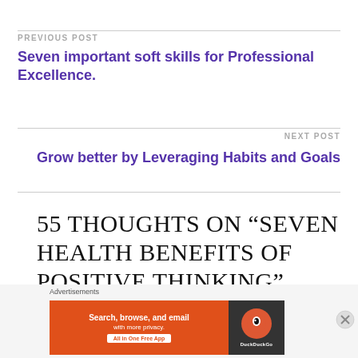PREVIOUS POST
Seven important soft skills for Professional Excellence.
NEXT POST
Grow better by Leveraging Habits and Goals
55 THOUGHTS ON “SEVEN HEALTH BENEFITS OF POSITIVE THINKING”
Advertisements
[Figure (screenshot): DuckDuckGo advertisement banner: orange background with text 'Search, browse, and email with more privacy. All in One Free App' and DuckDuckGo logo on dark right panel]